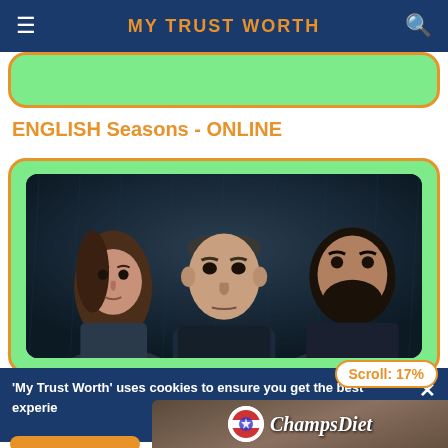MY TRUST WORTH
[Figure (screenshot): Partially visible green/orange rounded card at top]
ENGLISH Seasons - ONLINE
[Figure (photo): Three people looking intensely at camera — two men and one woman — dark moody background, shown in a green-bordered rounded card]
Scroll: 17%
'My Trust Worth' uses cookies to ensure you get the best experie
[Figure (infographic): ChampsDiet advertisement banner with FREE RECIPES button and food imagery]